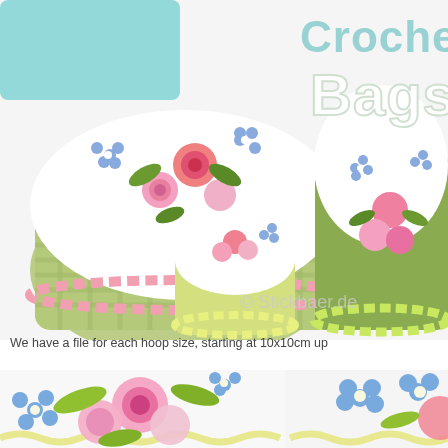[Figure (photo): Promotional product image showing crocheted bags with floral embroidery (roses and forget-me-nots) on white fabric with gingham backing in pink, yellow, and green. Text overlay reads 'Crochet Bags' and '© Stickbaer.de']
We have a file for each hoop size, starting at 10x10cm up
[Figure (photo): Close-up photo of embroidered fabric bags showing pink roses and blue forget-me-not flowers with lime green leaves and crochet edge trim on white fabric with green gingham backing]